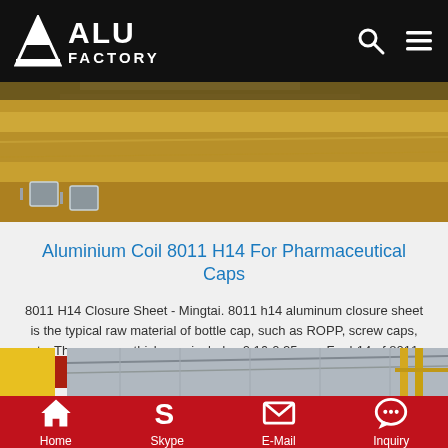ALU FACTORY
[Figure (photo): Close-up photo of aluminium coil/sheet material in golden/bronze color with some label tags visible]
Aluminium Coil 8011 H14 For Pharmaceutical Caps
8011 H14 Closure Sheet - Mingtai. 8011 h14 aluminum closure sheet is the typical raw material of bottle cap, such as ROPP, screw caps, etc. The common thickness includes 0.16-0.25mm. For h14 of 8011 aluminium closure sheet coil, refers to the strength and better properties obtained in h14
Get Price
[Figure (photo): Interior of a warehouse/factory with yellow structural elements and metal roof/ceiling]
Home  Skype  E-Mail  Inquiry